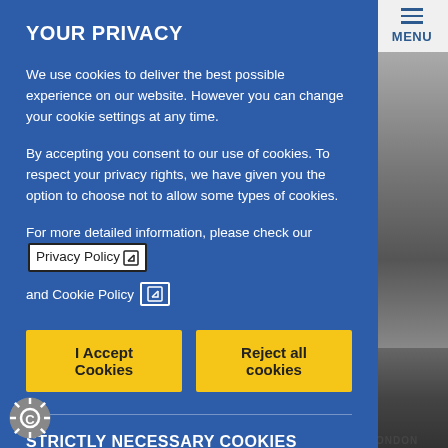MENU
YOUR PRIVACY
We use cookies to deliver the best possible experience on our website. However you can change your cookie settings at any time.
By accepting you consent to our use of cookies. To respect your privacy rights, we have given you the option to choose not to allow some types of cookies.
For more detailed information, please check our Privacy Policy and Cookie Policy
I Accept Cookies
Reject all cookies
STRICTLY NECESSARY COOKIES
These cookies are essential to enable you to move around our websites and to allow the features of the sites to work correctly. Without these, services you request – such as navigating between pages – cannot be provided and you may experience some problems
[Figure (logo): Cookie settings gear icon at bottom left]
[Figure (photo): Grayscale photo of a smiling man wearing glasses and a tie, partially visible on right side of page]
ONDON